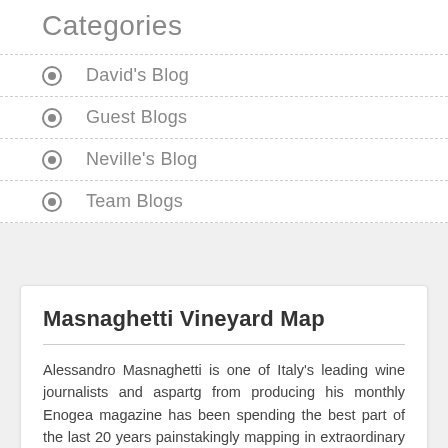Categories
David's Blog
Guest Blogs
Neville's Blog
Team Blogs
Masnaghetti Vineyard Map
Alessandro Masnaghetti is one of Italy's leading wine journalists and aspartg from producing his monthly Enogea magazine has been spending the best part of the last 20 years painstakingly mapping in extraordinary detail, the vineyards in Italy's leading wine production areas. On the back of the maps